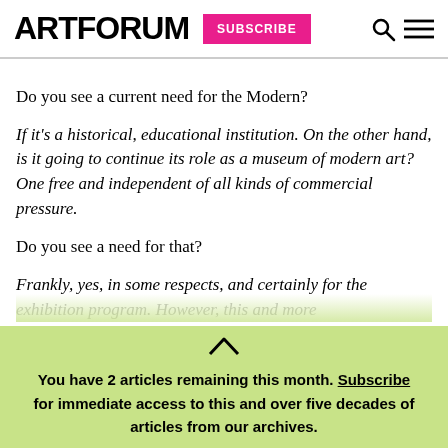ARTFORUM | SUBSCRIBE
Do you see a current need for the Modern?
If it's a historical, educational institution. On the other hand, is it going to continue its role as a museum of modern art? One free and independent of all kinds of commercial pressure.
Do you see a need for that?
Frankly, yes, in some respects, and certainly for the
You have 2 articles remaining this month. Subscribe for immediate access to this and over five decades of articles from our archives.